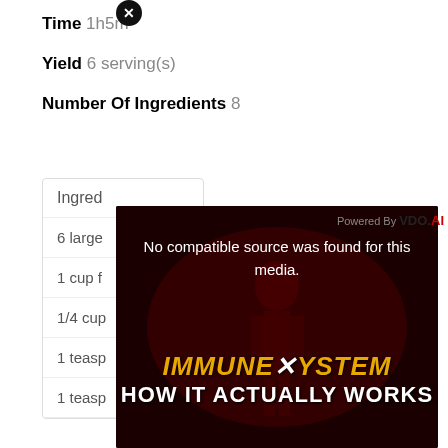Time 1h5m
Yield 6 serving(s)
Number Of Ingredients 8
| Ingredients |
| --- |
| 6 large |
| 1 cup f |
| 1/4 cup |
| 1 teasp |
| 1 teasp |
[Figure (screenshot): Video player overlay showing 'No compatible source was found for this media.' with Immune System How It Actually Works title card. Powered By VDO.AI branding visible. Close button in top left.]